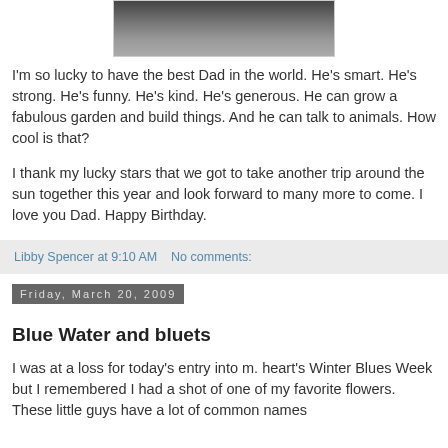[Figure (photo): Partial photo visible at top of page, dark tones, appears to be a person or scene]
I'm so lucky to have the best Dad in the world. He's smart. He's strong. He's funny. He's kind. He's generous. He can grow a fabulous garden and build things. And he can talk to animals. How cool is that?
I thank my lucky stars that we got to take another trip around the sun together this year and look forward to many more to come. I love you Dad. Happy Birthday.
Libby Spencer at 9:10 AM    No comments:
Friday, March 20, 2009
Blue Water and bluets
I was at a loss for today's entry into m. heart's Winter Blues Week but I remembered I had a shot of one of my favorite flowers. These little guys have a lot of common names